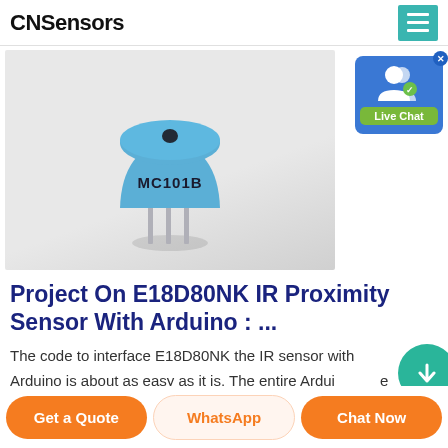CNSensors
[Figure (photo): A blue cylindrical sensor component labeled MC101B with metal pins at the bottom, shown on a white/light grey background.]
[Figure (other): Live Chat badge widget with two user silhouette icons and a green-labeled 'Live Chat' button, teal/blue background, with an X close button.]
Project On E18D80NK IR Proximity Sensor With Arduino : ...
The code to interface E18D80NK the IR sensor with Arduino is about as easy as it is. The entire Arduino code
[Figure (other): Partially visible green circle button in bottom right corner.]
Get a Quote
WhatsApp
Chat Now